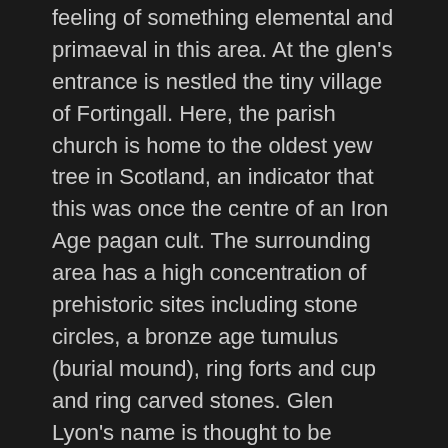feeling of something elemental and primaeval in this area. At the glen's entrance is nestled the tiny village of Fortingall. Here, the parish church is home to the oldest yew tree in Scotland, an indicator that this was once the centre of an Iron Age pagan cult. The surrounding area has a high concentration of prehistoric sites including stone circles, a bronze age tumulus (burial mound), ring forts and cup and ring carved stones. Glen Lyon's name is thought to be derived from the Celtic god Lugh.
The shrine, however, is located in another glen located deep within Glen Lyon. This is called Gleann Cailliche, named after the Cailleach, herself. It literally means the Glen of the Old Lady or the Glen of the 'Veiled One'. Glen Cailliche has its own warmer micro-climate. Could this be the beneficence of the Bodach and the